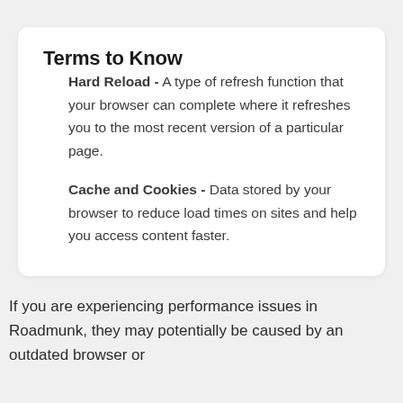Terms to Know
Hard Reload - A type of refresh function that your browser can complete where it refreshes you to the most recent version of a particular page.
Cache and Cookies - Data stored by your browser to reduce load times on sites and help you access content faster.
If you are experiencing performance issues in Roadmunk, they may potentially be caused by an outdated browser or